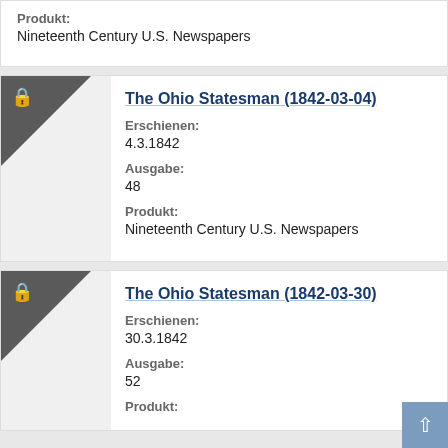Produkt:
Nineteenth Century U.S. Newspapers
The Ohio Statesman (1842-03-04)
Erschienen:
4.3.1842
Ausgabe:
48
Produkt:
Nineteenth Century U.S. Newspapers
The Ohio Statesman (1842-03-30)
Erschienen:
30.3.1842
Ausgabe:
52
Produkt: